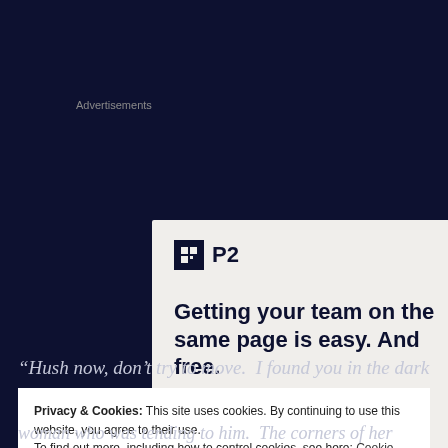Advertisements
[Figure (other): Advertisement for P2 product. Shows the P2 logo (dark square icon with grid symbol and 'P2' text) and headline text: 'Getting your team on the same page is easy. And free.']
“Hush now, don’t try to move.  I found you in the dark
Privacy & Cookies: This site uses cookies. By continuing to use this website, you agree to their use.
To find out more, including how to control cookies, see here: Cookie Policy
[Close and accept]
woman who was tending to him.  The corners of her